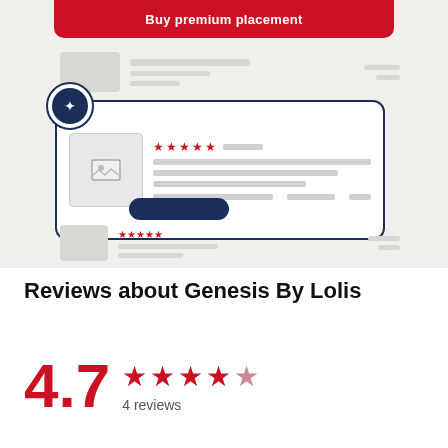[Figure (illustration): A marketing illustration showing a 'Buy premium placement' red banner at top, with a highlighted listing card featuring a badge, image placeholder, star ratings, and a blue CTA button, surrounded by faded background listing rows.]
Reviews about Genesis By Lolis
4.7 ★★★★★ 4 reviews